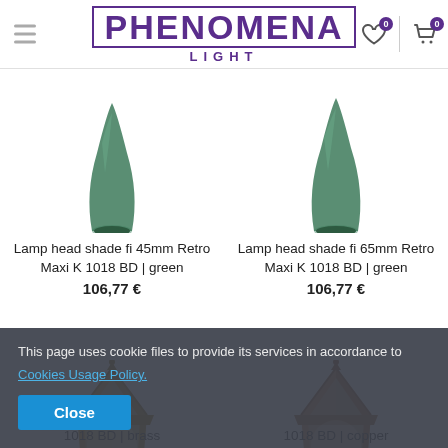[Figure (logo): Phenomena Light logo with purple text and border]
[Figure (photo): Lamp head shade fi 45mm Retro Maxi K 1018 BD green, partially visible from top]
Lamp head shade fi 45mm Retro Maxi K 1018 BD | green
106,77 €
[Figure (photo): Lamp head shade fi 65mm Retro Maxi K 1018 BD green, partially visible from top]
Lamp head shade fi 65mm Retro Maxi K 1018 BD | green
106,77 €
[Figure (photo): Lamp head 1018 BD brass, partially visible]
[Figure (photo): Lamp head 1018 BD copper, partially visible]
1018 BD | brass
1018 BD | copper
This page uses cookie files to provide its services in accordance to Cookies Usage Policy.
Close